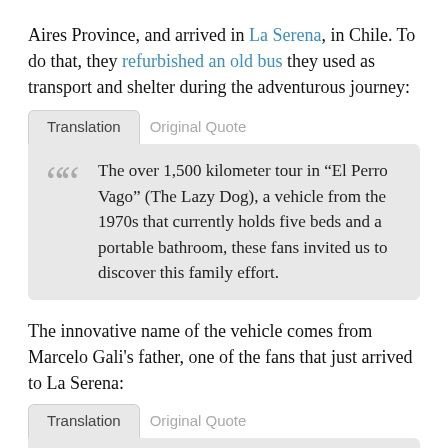Aires Province, and arrived in La Serena, in Chile. To do that, they refurbished an old bus they used as transport and shelter during the adventurous journey:
Translation | Original Quote

“The over 1,500 kilometer tour in “El Perro Vago” (The Lazy Dog), a vehicle from the 1970s that currently holds five beds and a portable bathroom, these fans invited us to discover this family effort.
The innovative name of the vehicle comes from Marcelo Gali's father, one of the fans that just arrived to La Serena:
Translation | Original Quote

“Now it’s me travelling with my dad, my brother, an uncle and a friend of my dad’s. We stopped first